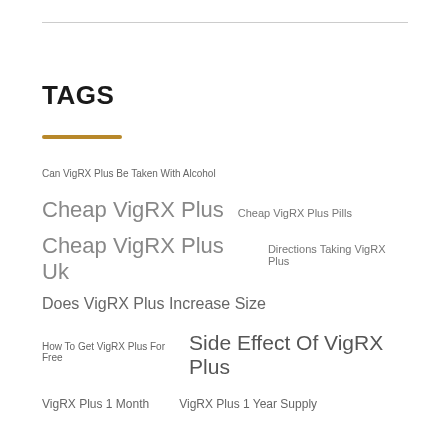TAGS
Can VigRX Plus Be Taken With Alcohol
Cheap VigRX Plus
Cheap VigRX Plus Pills
Cheap VigRX Plus Uk
Directions Taking VigRX Plus
Does VigRX Plus Increase Size
How To Get VigRX Plus For Free
Side Effect Of VigRX Plus
VigRX Plus 1 Month
VigRX Plus 1 Year Supply